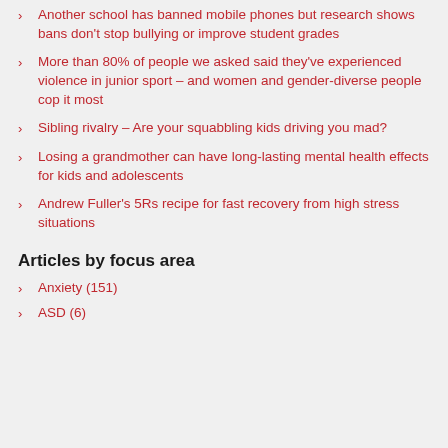Another school has banned mobile phones but research shows bans don't stop bullying or improve student grades
More than 80% of people we asked said they've experienced violence in junior sport – and women and gender-diverse people cop it most
Sibling rivalry – Are your squabbling kids driving you mad?
Losing a grandmother can have long-lasting mental health effects for kids and adolescents
Andrew Fuller's 5Rs recipe for fast recovery from high stress situations
Articles by focus area
Anxiety (151)
ASD (6)